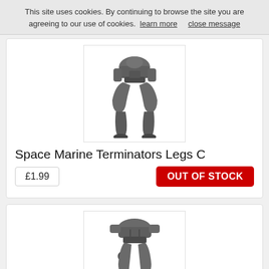This site uses cookies. By continuing to browse the site you are agreeing to our use of cookies. learn more close message
[Figure (photo): Space Marine Terminators Legs C miniature model shown from the front - dark grey armoured legs and lower torso piece]
Space Marine Terminators Legs C
£1.99
OUT OF STOCK
[Figure (photo): Space Marine armoured legs miniature model shown from the front - dark grey armoured legs and lower torso piece, different pose from first product]